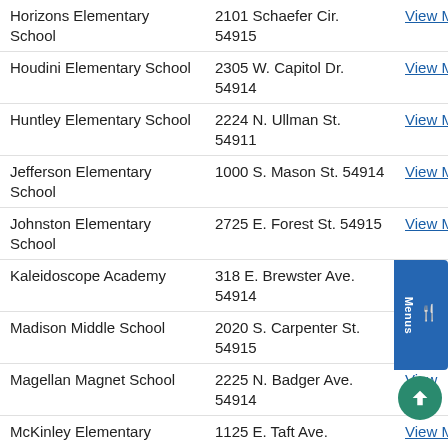| School | Address | Link |
| --- | --- | --- |
| Horizons Elementary School | 2101 Schaefer Cir. 54915 | View Map |
| Houdini Elementary School | 2305 W. Capitol Dr. 54914 | View Map |
| Huntley Elementary School | 2224 N. Ullman St. 54911 | View Map |
| Jefferson Elementary School | 1000 S. Mason St. 54914 | View Map |
| Johnston Elementary School | 2725 E. Forest St. 54915 | View Map |
| Kaleidoscope Academy | 318 E. Brewster Ave. 54914 | View Map |
| Madison Middle School | 2020 S. Carpenter St. 54915 | View Map |
| Magellan Magnet School | 2225 N. Badger Ave. 54914 | View Map |
| McKinley Elementary | 1125 E. Taft Ave. | View Map |